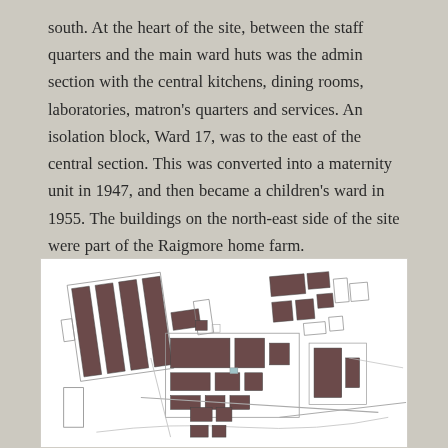south. At the heart of the site, between the staff quarters and the main ward huts was the admin section with the central kitchens, dining rooms, laboratories, matron's quarters and services. An isolation block, Ward 17, was to the east of the central section. This was converted into a maternity unit in 1947, and then became a children's ward in 1955. The buildings on the north-east side of the site were part of the Raigmore home farm.
[Figure (map): Site plan / map showing the layout of buildings at Raigmore hospital site, rendered as a black and white architectural floor plan with dark brown/maroon building footprints on a white background.]